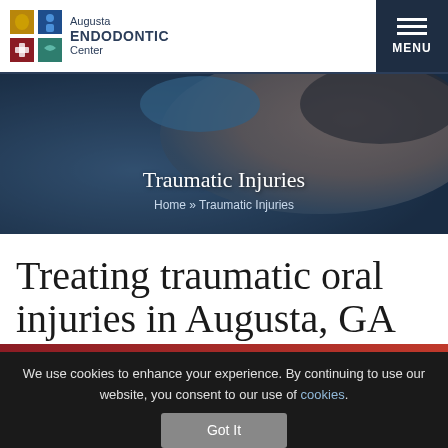[Figure (logo): Augusta Endodontic Center logo with colorful tiled squares icon and text]
[Figure (photo): Close-up photo of a patient lying back receiving dental/endodontic treatment, with gloved hand near face, blue toned clinical setting]
Traumatic Injuries
Home » Traumatic Injuries
Treating traumatic oral injuries in Augusta, GA
We use cookies to enhance your experience. By continuing to use our website, you consent to our use of cookies.
Got It